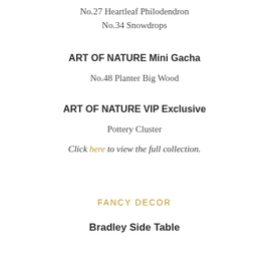No.27 Heartleaf Philodendron
No.34 Snowdrops
ART OF NATURE Mini Gacha
No.48 Planter Big Wood
ART OF NATURE VIP Exclusive
Pottery Cluster
Click here to view the full collection.
FANCY DECOR
Bradley Side Table